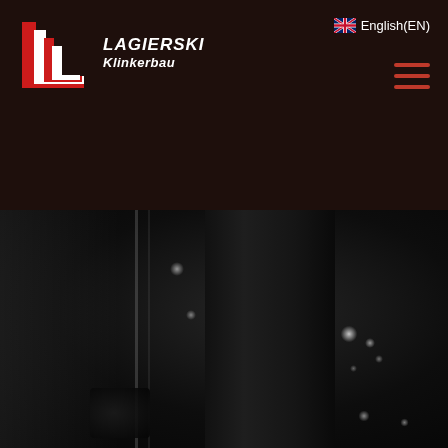[Figure (logo): Lagierski Klinkerbau company logo: red stylized 'L' letters on a white background, with bold italic white text 'LAGIERSKI' and 'Klinkerbau' on dark brown header]
English(EN)
[Figure (photo): Blurred close-up photograph of a dark metal door or gate structure with bolts/rivets visible and some light reflections, very dark overall with black background]